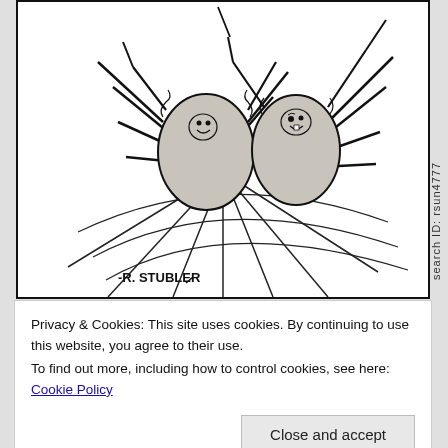[Figure (illustration): Hand-drawn cartoon illustration of two spiders sitting on a spider web, waving their legs/arms, with friendly faces. Signed '-R. STUBLER' at the bottom left. The spiders have round bodies with multiple legs and are positioned on a curved web structure.]
search ID: rsun4777
Privacy & Cookies: This site uses cookies. By continuing to use this website, you agree to their use.
To find out more, including how to control cookies, see here: Cookie Policy
Close and accept